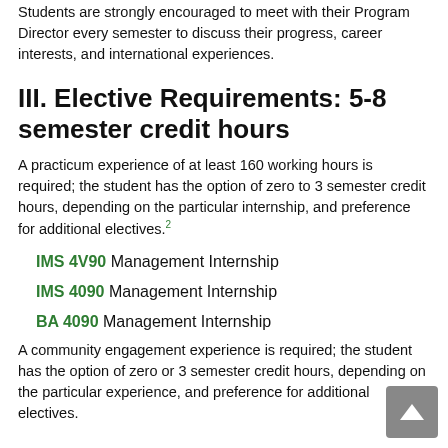Students are strongly encouraged to meet with their Program Director every semester to discuss their progress, career interests, and international experiences.
III. Elective Requirements: 5-8 semester credit hours
A practicum experience of at least 160 working hours is required; the student has the option of zero to 3 semester credit hours, depending on the particular internship, and preference for additional electives.2
IMS 4V90 Management Internship
IMS 4090 Management Internship
BA 4090 Management Internship
A community engagement experience is required; the student has the option of zero or 3 semester credit hours, depending on the particular experience, and preference for additional electives.